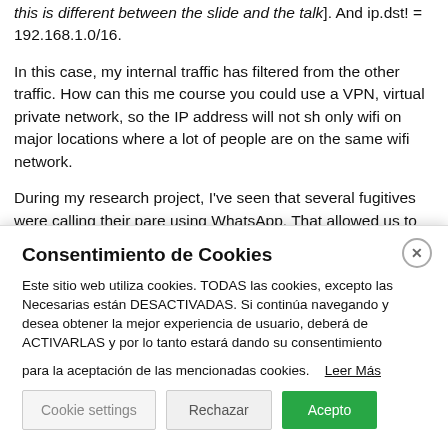[this is different between the slide and the talk]. And ip.dst! = 192.168.1.0/16.
In this case, my internal traffic has filtered from the other traffic. How can this me... course you could use a VPN, virtual private network, so the IP address will not sh... only wifi on major locations where a lot of people are on the same wifi network.
During my research project, I've seen that several fugitives were calling their pare... using WhatsApp. That allowed us to see the IP address of the person they were c... were all intercepted, we could find their location abroad. They were arrested over...
The sixth method is about WhatsApp open source intelligence. As my research s... gathered by using WhatsApp open source intelligence. For example, someone's...
Consentimiento de Cookies
Este sitio web utiliza cookies. TODAS las cookies, excepto las Necesarias están DESACTIVADAS. Si continúa navegando y desea obtener la mejor experiencia de usuario, deberá de ACTIVARLAS y por lo tanto estará dando su consentimiento
para la aceptación de las mencionadas cookies.   Leer Más